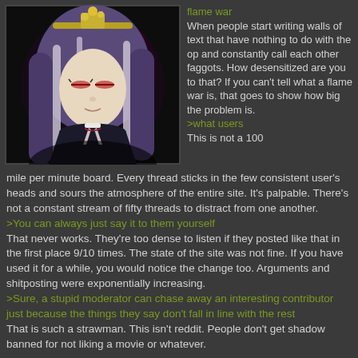[Figure (illustration): Anime-style illustration of a female character with long purple/white hair, red eyes, wearing a dark outfit with white ribbons at the neck, on a dark background]
flame war
When people start writing walls of text that have nothing to do with the op and constantly call each other faggots. How desensitized are you to that? If you can't tell what a flame war is, that goes to show how big the problem is.
>what users
This is not a 100 mile per minute board. Every thread sticks in the few consistent user's heads and sours the atmosphere of the entire site. It's palpable. There's not a constant stream of fifty threads to distract from one another.
>You can always just say it to them yourself
That never works. They're too dense to listen if they posted like that in the first place 9/10 times. The state of the site was not fine. If you have used it for a while, you would notice the change too. Arguments and shitposting were exponentially increasing.
>Sure, a stupid moderator can chase away an interesting contributor just because the things they say don't fall in line with the rest
That is such a strawman. This isn't reddit. People don't get shadow banned for not liking a movie or whatever.